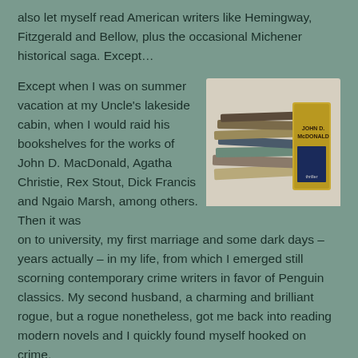also let myself read American writers like Hemingway, Fitzgerald and Bellow, plus the occasional Michener historical saga. Except…
Except when I was on summer vacation at my Uncle's lakeside cabin, when I would raid his bookshelves for the works of John D. MacDonald, Agatha Christie, Rex Stout, Dick Francis and Ngaio Marsh, among others. Then it was on to university, my first marriage and some dark days – years actually – in my life, from which I emerged still scorning contemporary crime writers in favor of Penguin classics. My second husband, a charming and brilliant rogue, but a rogue nonetheless, got me back into reading modern novels and I quickly found myself hooked on crime.
[Figure (photo): A stack of paperback books, including visible John D. MacDonald titles, photographed against a white background.]